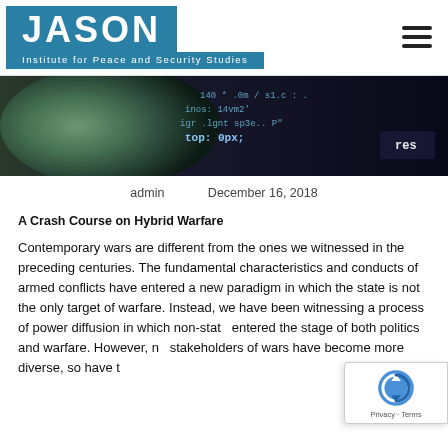[Figure (logo): JASON Institute for Peace and Security Studies logo with teal/blue background]
[Figure (photo): Hero banner image showing a globe/satellite imagery on the left and dark background with blue code/text on the right]
admin     December 16, 2018
A Crash Course on Hybrid Warfare
Contemporary wars are different from the ones we witnessed in the preceding centuries. The fundamental characteristics and conducts of armed conflicts have entered a new paradigm in which the state is not the only target of warfare. Instead, we have been witnessing a process of power diffusion in which non-state entered the stage of both politics and warfare. However, n stakeholders of wars have become more diverse, so have the